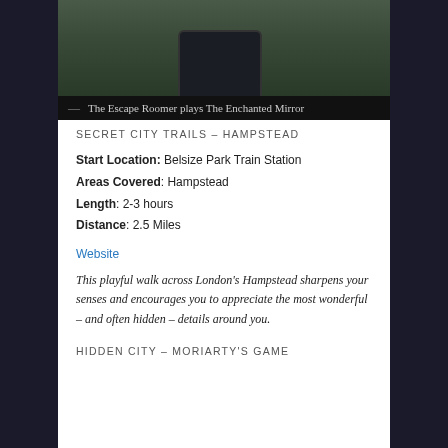[Figure (photo): Person holding a phone outdoors on cobblestones, displaying text on screen, with a yellow line visible in the background]
— The Escape Roomer plays The Enchanted Mirror
SECRET CITY TRAILS – HAMPSTEAD
Start Location: Belsize Park Train Station
Areas Covered: Hampstead
Length: 2-3 hours
Distance: 2.5 Miles
Website
This playful walk across London's Hampstead sharpens your senses and encourages you to appreciate the most wonderful – and often hidden – details around you.
HIDDEN CITY – MORIARTY'S GAME